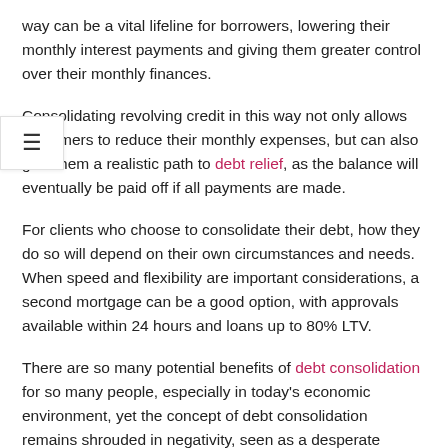way can be a vital lifeline for borrowers, lowering their monthly interest payments and giving them greater control over their monthly finances.
Consolidating revolving credit in this way not only allows customers to reduce their monthly expenses, but can also give them a realistic path to debt relief, as the balance will eventually be paid off if all payments are made.
For clients who choose to consolidate their debt, how they do so will depend on their own circumstances and needs. When speed and flexibility are important considerations, a second mortgage can be a good option, with approvals available within 24 hours and loans up to 80% LTV.
There are so many potential benefits of debt consolidation for so many people, especially in today's economic environment, yet the concept of debt consolidation remains shrouded in negativity, seen as a desperate measure taken by desperate people.